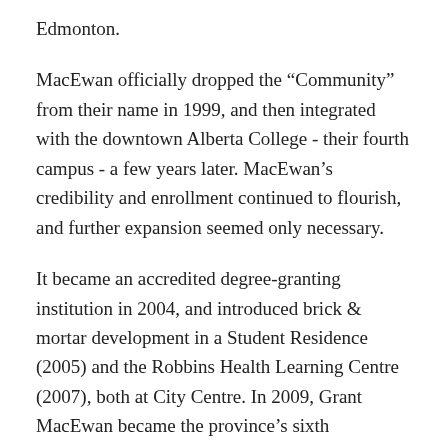Edmonton.
MacEwan officially dropped the “Community” from their name in 1999, and then integrated with the downtown Alberta College - their fourth campus - a few years later. MacEwan’s credibility and enrollment continued to flourish, and further expansion seemed only necessary.
It became an accredited degree-granting institution in 2004, and introduced brick & mortar development in a Student Residence (2005) and the Robbins Health Learning Centre (2007), both at City Centre. In 2009, Grant MacEwan became the province’s sixth university, re-branding simply as MacEwan University a few years later.